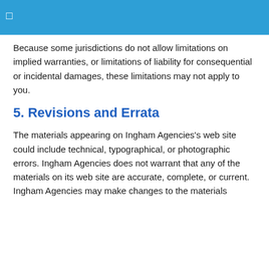□
Because some jurisdictions do not allow limitations on implied warranties, or limitations of liability for consequential or incidental damages, these limitations may not apply to you.
5. Revisions and Errata
The materials appearing on Ingham Agencies’s web site could include technical, typographical, or photographic errors. Ingham Agencies does not warrant that any of the materials on its web site are accurate, complete, or current. Ingham Agencies may make changes to the materials